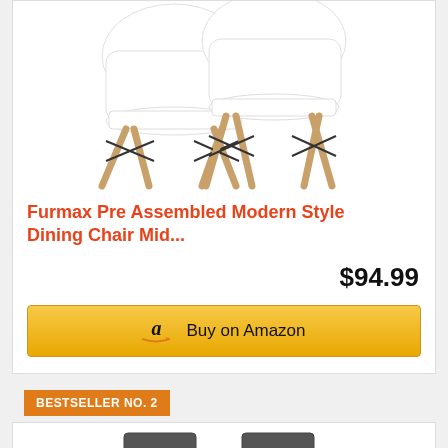[Figure (photo): Two white modern dining chairs with wooden legs (Eames-style) photographed on white background]
Furmax Pre Assembled Modern Style Dining Chair Mid...
$94.99
Buy on Amazon
BESTSELLER NO. 2
[Figure (photo): Two dark grey/black modern office or dining chairs photographed on white background]